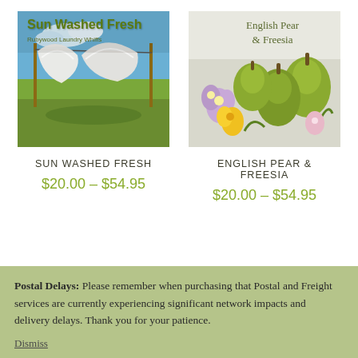[Figure (photo): Sun Washed Fresh product image showing white sheets hanging on a clothesline in a sunny grassy field. Text overlay reads 'Sun Washed Fresh' and 'Rubywood Laundry Whiffs']
SUN WASHED FRESH
$20.00 – $54.95
[Figure (photo): English Pear & Freesia product image showing green pears and purple/yellow freesia flowers on a white background. Text overlay reads 'English Pear & Freesia']
ENGLISH PEAR & FREESIA
$20.00 – $54.95
Postal Delays: Please remember when purchasing that Postal and Freight services are currently experiencing significant network impacts and delivery delays. Thank you for your patience.
Dismiss